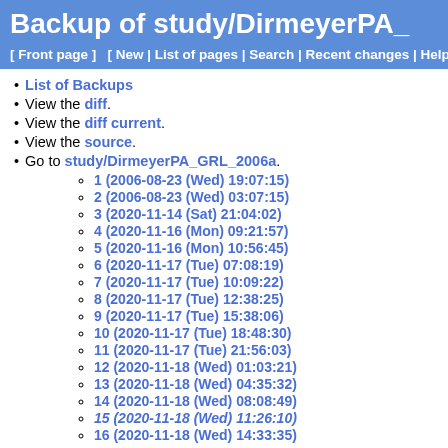Backup of study/DirmeyerPA_
[ Front page ]   [ New | List of pages | Search | Recent changes | Help ]
List of Backups
View the diff.
View the diff current.
View the source.
Go to study/DirmeyerPA_GRL_2006a.
1 (2006-08-23 (Wed) 19:07:15)
2 (2006-08-23 (Wed) 03:07:15)
3 (2020-11-14 (Sat) 21:04:02)
4 (2020-11-16 (Mon) 09:21:57)
5 (2020-11-16 (Mon) 10:56:45)
6 (2020-11-17 (Tue) 07:08:19)
7 (2020-11-17 (Tue) 10:09:22)
8 (2020-11-17 (Tue) 12:38:25)
9 (2020-11-17 (Tue) 15:38:06)
10 (2020-11-17 (Tue) 18:48:30)
11 (2020-11-17 (Tue) 21:56:03)
12 (2020-11-18 (Wed) 01:03:21)
13 (2020-11-18 (Wed) 04:35:32)
14 (2020-11-18 (Wed) 08:08:49)
15 (2020-11-18 (Wed) 11:26:10)
16 (2020-11-18 (Wed) 14:33:35)